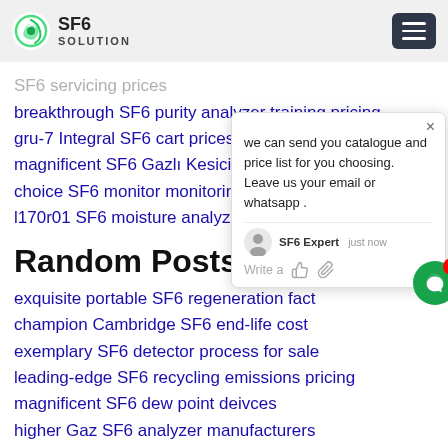SF6 SOLUTION
SF6 servicing prices
breakthrough SF6 purity analyzer training pricing
gru-7 Integral SF6 cart prices
magnificent SF6 Gazlı Kesici rentals pricing
choice SF6 monitor monitoring system
l170r01 SF6 moisture analyzer cart facto
Random Posts:
exquisite portable SF6 regeneration fact
champion Cambridge SF6 end-life cost
exemplary SF6 detector process for sale
leading-edge SF6 recycling emissions pricing
magnificent SF6 dew point deivces
higher Gaz SF6 analyzer manufacturers
enervac SF6 monitor zero emission prices
leading-edge Service SF6 cycle pricing
[Figure (other): Chat support popup overlay with SF6 Expert avatar, message about catalogue and price list, and write/attachment controls]